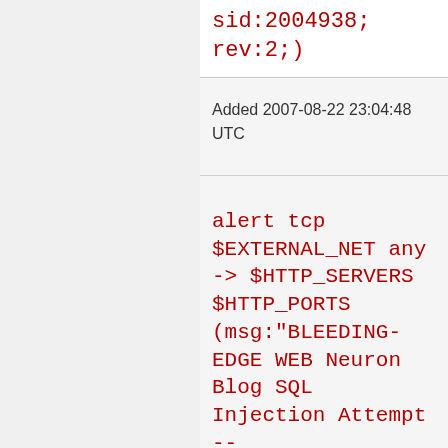sid:2004938; rev:2;)
Added 2007-08-22 23:04:48 UTC
alert tcp $EXTERNAL_NET any -> $HTTP_SERVERS $HTTP_PORTS (msg:"BLEEDING-EDGE WEB Neuron Blog SQL Injection Attempt -- addcomment2.php commentname INSERT"; flow:established,to_server; uricontent:"/pages/addcom nocase;